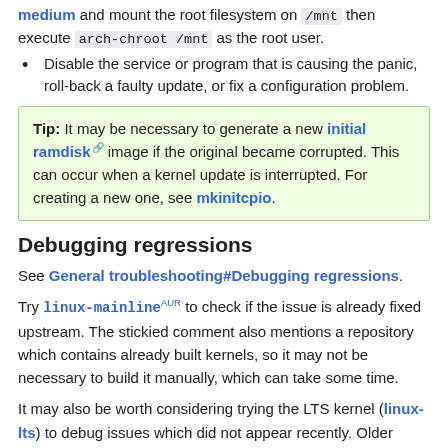medium and mount the root filesystem on /mnt then execute arch-chroot /mnt as the root user.
Disable the service or program that is causing the panic, roll-back a faulty update, or fix a configuration problem.
Tip: It may be necessary to generate a new initial ramdisk image if the original became corrupted. This can occur when a kernel update is interrupted. For creating a new one, see mkinitcpio.
Debugging regressions
See General troubleshooting#Debugging regressions.
Try linux-mainline AUR to check if the issue is already fixed upstream. The stickied comment also mentions a repository which contains already built kernels, so it may not be necessary to build it manually, which can take some time.
It may also be worth considering trying the LTS kernel (linux-lts) to debug issues which did not appear recently. Older versions of the LTS kernel can be found in the Arch Linux